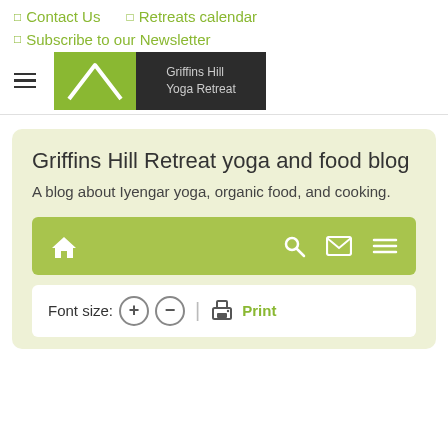☐ Contact Us  ☐ Retreats calendar
☐ Subscribe to our Newsletter
[Figure (logo): Griffins Hill Yoga Retreat logo: green square with white mountain/chevron shape, dark square with text 'Griffins Hill Yoga Retreat']
Griffins Hill Retreat yoga and food blog
A blog about Iyengar yoga, organic food, and cooking.
[Figure (screenshot): Green toolbar with home icon on left and search, mail, menu icons on right]
Font size: + −  🖨 Print